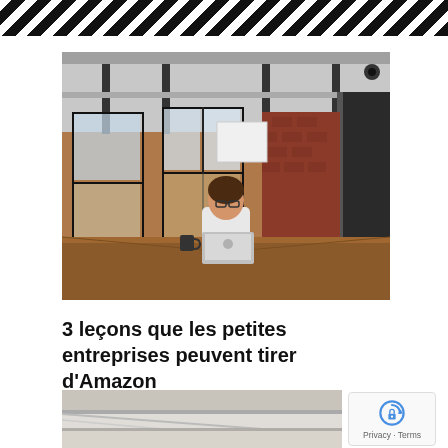[Figure (other): Diagonal black and white stripe pattern header banner]
[Figure (photo): Woman with glasses sitting alone at a long wooden table in a modern industrial office space with large black-framed windows and exposed brick walls, working on a laptop]
3 leçons que les petites entreprises peuvent tirer d'Amazon
[Figure (photo): Partial view of a modern interior space, cropped at bottom of page]